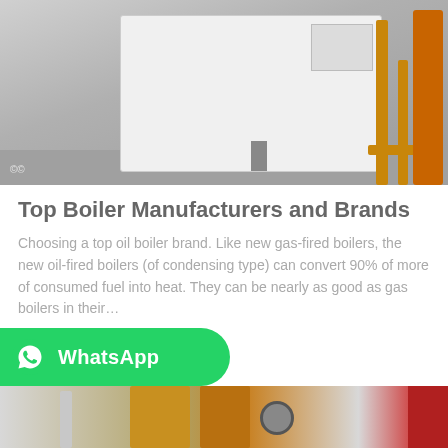[Figure (photo): Industrial boiler unit — large white rectangular boiler installed in a room with yellow/orange gas pipes on the right side and a concrete floor]
Top Boiler Manufacturers and Brands
Choosing a top oil boiler brand. Like new gas-fired boilers, the new oil-fired boilers (of condensing type) can convert 90% of more of consumed fuel into heat. They can be nearly as good as gas boilers in their…
[Figure (screenshot): Get Price button (blue) overlaid by WhatsApp contact bar (green) with WhatsApp logo and text]
[Figure (photo): Bottom strip photo showing industrial pipes including yellow/orange gas pipes, a gauge, and red pipes]